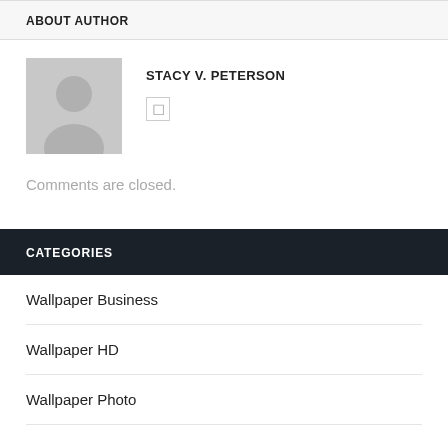ABOUT AUTHOR
STACY V. PETERSON
Comments are closed.
CATEGORIES
Wallpaper Business
Wallpaper HD
Wallpaper Photo